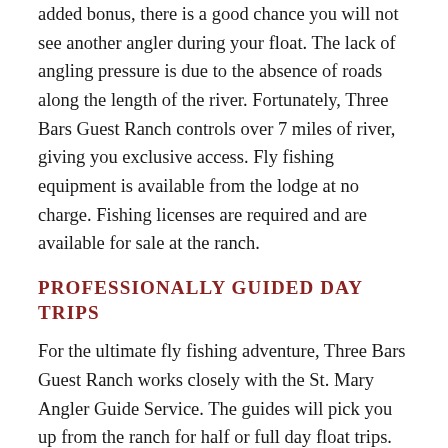added bonus, there is a good chance you will not see another angler during your float. The lack of angling pressure is due to the absence of roads along the length of the river. Fortunately, Three Bars Guest Ranch controls over 7 miles of river, giving you exclusive access. Fly fishing equipment is available from the lodge at no charge. Fishing licenses are required and are available for sale at the ranch.
PROFESSIONALLY GUIDED DAY TRIPS
For the ultimate fly fishing adventure, Three Bars Guest Ranch works closely with the St. Mary Angler Guide Service. The guides will pick you up from the ranch for half or full day float trips. Because the St. Mary has limited access, the best way to fish the river is from a float boat. St. Mary Anglers provide quality equipment including waders, transportation, a boat, and professional guides. Day trips run approximately